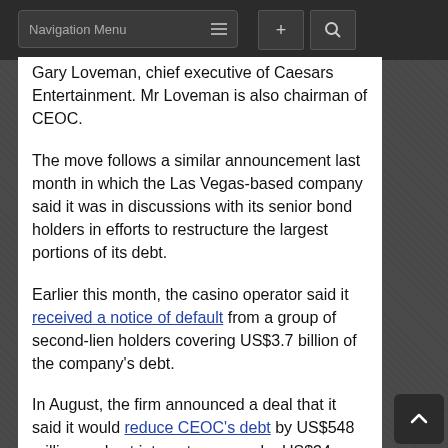Navigation Menu
Gary Loveman, chief executive of Caesars Entertainment. Mr Loveman is also chairman of CEOC.
The move follows a similar announcement last month in which the Las Vegas-based company said it was in discussions with its senior bond holders in efforts to restructure the largest portions of its debt.
Earlier this month, the casino operator said it received a notice of default from a group of second-lien holders covering US$3.7 billion of the company's debt.
In August, the firm announced a deal that it said it would reduce CEOC's debt by US$548 million and cut interest expense by US$34 million annually.